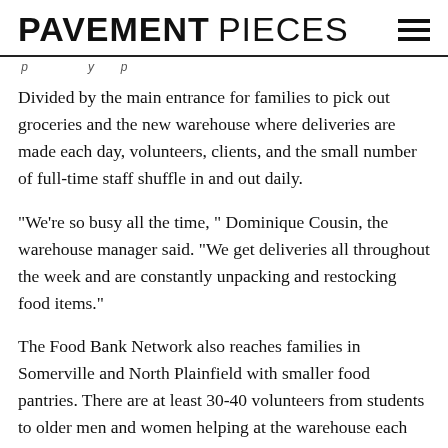PAVEMENT PIECES
Divided by the main entrance for families to pick out groceries and the new warehouse where deliveries are made each day, volunteers, clients, and the small number of full-time staff shuffle in and out daily.
“We’re so busy all the time, ” Dominique Cousin, the warehouse manager said. “We get deliveries all throughout the week and are constantly unpacking and restocking food items.”
The Food Bank Network also reaches families in Somerville and North Plainfield with smaller food pantries. There are at least 30-40 volunteers from students to older men and women helping at the warehouse each week, plus more in the individual pantries.